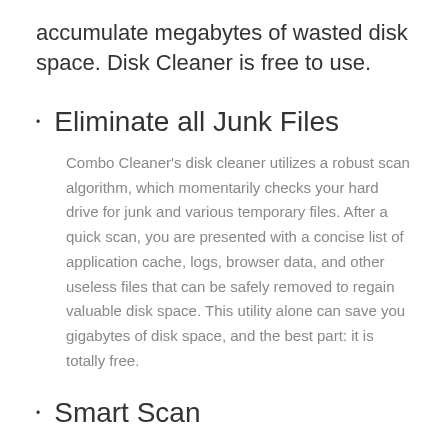accumulate megabytes of wasted disk space. Disk Cleaner is free to use.
Eliminate all Junk Files
Combo Cleaner's disk cleaner utilizes a robust scan algorithm, which momentarily checks your hard drive for junk and various temporary files. After a quick scan, you are presented with a concise list of application cache, logs, browser data, and other useless files that can be safely removed to regain valuable disk space. This utility alone can save you gigabytes of disk space, and the best part: it is totally free.
Smart Scan